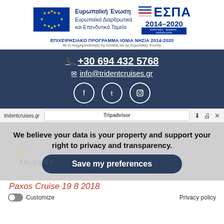[Figure (logo): EU and ESPA 2014-2020 logos with Greek text: Ευρωπαϊκή Ένωση, Ευρωπαϊκά Διαρθρωτικά και Επενδυτικά Ταμεία]
ΕΠΙΧΕΙΡΗΣΙΑΚΟ ΠΡΟΓΡΑΜΜΑ ΙΟΝΙΑ ΝΗΣΙΑ 2014-2020
Με τη συγχρηματοδότηση της Ελλάδας και της Ευρωπαϊκής Ένωσης
+30 694 432 5768
info@tridentcruises.gr
[Figure (other): Social media icons: Facebook, Twitter, Instagram circles]
tridentcruises.gr
Tripadvisor
We believe your data is your property and support your right to privacy and transparency.
[Figure (logo): Trident Speedboat Cruises watermark logo]
Save my preferences
Paxos Cruise 19 8 2018
Customize
Privacy policy